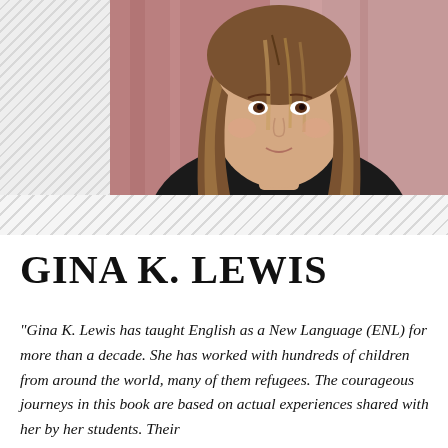[Figure (photo): Portrait photo of Gina K. Lewis, a woman with long brown highlighted hair, wearing a black top and a delicate necklace, photographed against a blurred pinkish-red background. The left side of the image area has a diagonal stripe pattern.]
GINA K. LEWIS
"Gina K. Lewis has taught English as a New Language (ENL) for more than a decade. She has worked with hundreds of children from around the world, many of them refugees. The courageous journeys in this book are based on actual experiences shared with her by her students. Their